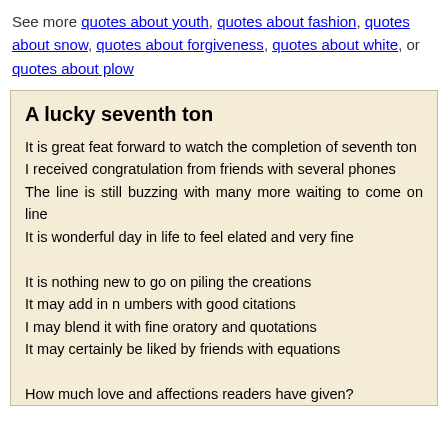See more quotes about youth, quotes about fashion, quotes about snow, quotes about forgiveness, quotes about white, or quotes about plow
A lucky seventh ton
It is great feat forward to watch the completion of seventh ton
I received congratulation from friends with several phones
The line is still buzzing with many more waiting to come on line
It is wonderful day in life to feel elated and very fine

It is nothing new to go on piling the creations
It may add in n umbers with good citations
I may blend it with fine oratory and quotations
It may certainly be liked by friends with equations

How much love and affections readers have given?